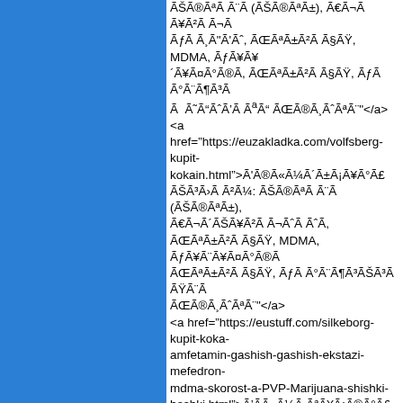ÃŠÃ®ÃªÃ Ã¨Ã (ÃŠÃ®ÃªÃ±), Ã€Ã¬Ã Ã¥Ã²Ã Ã¬ÃƒÃ Ã¸Ã¨Ã¸, ÃŒÃªÃ±Ã²Ã Ã§ÃŸ, MDMA, ÃƒÃ¥Ã¨Ã¥Ã¤Ã°Ã®Ã, ÃŒÃªÃ±Ã²Ã Ã§ÃŸ, ÃƒÃ Ã°Ã¨Ã¶Ã³ÃŠÃ Ã  ÃŸÃ¨Ã¸Ã¨ ÃŒÃ®Ã¸ÃªÃ¨</a>
<a href="https://euzakladka.com/volfsberg-kupit-kokain.html">Ã'Ã®Ã«Ã¼Ã±Ã±Ã¡Ã¥Ã°Ã£ ÃŠÃ³ÃŒÃ¨Ã²Ã¼: ÃŠÃ®ÃªÃ Ã¨Ã (ÃŠÃ®ÃªÃ±), Ã€Ã¬Ã Ã¥Ã²Ã Ã¬Ã'Ã Ã¸Ã¨Ã¸, ÃŒÃªÃ±Ã²Ã Ã§ÃŸ, MDMA, ÃƒÃ¥Ã¨Ã¥Ã¤Ã°Ã®Ã, ÃŒÃªÃ±Ã²Ã Ã§ÃŸ, ÃƒÃ Ã°Ã¨Ã¶Ã³ÃŠÃ Ã  ÃŸÃ¨Ã¸Ã¨ ÃŒÃ®Ã¸ÃªÃ¨</a>
<a href="https://eustuff.com/silkeborg-kupit-koka-amfetamin-gashish-gashish-ekstazi-mefedron-mdma-skorost-a-PVP-Marijuana-shishki-boshki.html">Ã'Ã¨Ã«Ã¼Ã ÃªÃ¥Ã¡Ã®Ã°Ã£ ÃŠÃ³ÃŒÃ¨Ã²Ã¼: ÃŠÃ®ÃªÃ Ã¨Ã (ÃŠÃ®ÃªÃ±), Ã€Ã¬Ã Ã¥Ã²Ã Ã¬Ã'Ã Ã¸Ã¨Ã¸, ÃŒÃªÃ±Ã²Ã Ã§ÃŸ, MDMA, ÃƒÃ¥Ã¨Ã¥Ã¤Ã°Ã®Ã, ÃŒÃªÃ±Ã²Ã Ã§ÃŸ, ÃƒÃ Ã°Ã¨Ã¶Ã³ÃŠÃ Ã  ÃŸÃ¨Ã¸Ã¨ ÃŒÃ®Ã¸ÃªÃ¨</a>
<a href="https://bykupitastaff.com/grodno-kupit-onlain-zakladku-kokain-amfetamin-gashish-gash-ekstazi-mefedron-mdma-skorost-a-PVP-Marijuana-shishki-boshki.html">ÃƒÃ°Ã®Ã¤ÃÃ® ÃŠÃ³ÃŒÃ¨Ã²Ã¼: ÃŠÃ®ÃªÃ Ã¨Ã (ÃŠÃ®ÃªÃ±),